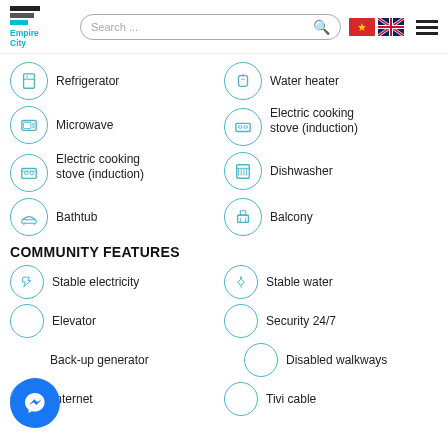[Figure (logo): Empire City logo with horizontal bars in dark gray and teal, and 'Empire City' text in teal]
[Figure (screenshot): Search bar with placeholder 'Search ...' and magnifying glass icon]
[Figure (illustration): Vietnamese flag and UK flag icons]
[Figure (illustration): Hamburger menu icon]
Refrigerator
Water heater
Microwave
Electric cooking stove (induction)
Electric cooking stove (induction)
Dishwasher
Bathtub
Balcony
COMMUNITY FEATURES
Stable electricity
Stable water
Elevator
Security 24/7
Back-up generator
Disabled walkways
Internet
Tivi cable